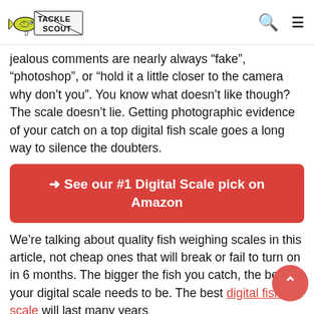Tackle Scout
jealous comments are nearly always “fake”, “photoshop”, or “hold it a little closer to the camera why don’t you”. You know what doesn’t like though? The scale doesn’t lie. Getting photographic evidence of your catch on a top digital fish scale goes a long way to silence the doubters.
➜ See our #1 Digital Scale pick on Amazon
We’re talking about quality fish weighing scales in this article, not cheap ones that will break or fail to turn on in 6 months. The bigger the fish you catch, the better your digital scale needs to be. The best digital fish scale will last many years